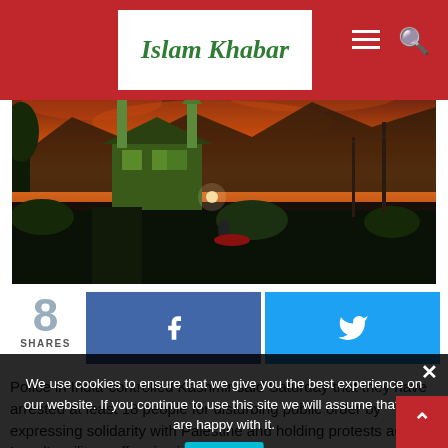Islam Khabar
[Figure (photo): Aerial/elevated view of a town or city street at dusk/sunset with orange-red sky, mosque minarets visible, green building, trees, and street lights]
8 SHARES
[Figure (infographic): Facebook share button (blue) and Twitter share button (cyan) social sharing buttons]
Police in India-controlled Kashmir said Saturday that they have arrested at least 18 people for disturbing public order by expressing solidarity with Palestine and holding protests against Israel's military offensive in Gaza.
We use cookies to ensure that we give you the best experience on our website. If you continue to use this site we will assume that you are happy with it.